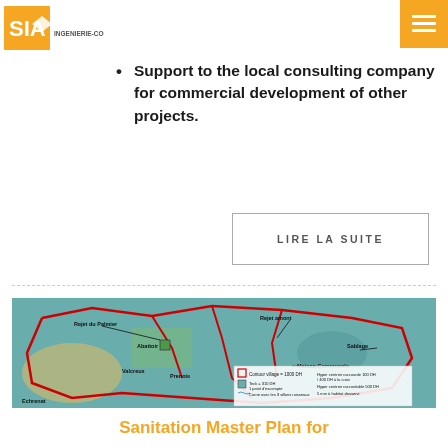SIA Ingenierie-Conseil
rural areas (new planted Ph.D.) - Capitalization
Support to the local consulting company for commercial development of other projects.
LIRE LA SUITE
[Figure (map): Aerial/satellite map showing a village layout with red boundary lines, labels including Rejet du Palmier, Rejet amont, Abattoir, Sablage, Maison Communale, Valcreux, Prenois, Echrenat. A legend in the bottom right shows: Contour village 1000 DH, Teck 310 DH / 1 point d'escompte, Corne avec les 3 sillons ruisseaux, Hyper centree raccourde 100 DH / 400 DH à la croix, Hyper centree raccordable 500 DH, 5 mm à habitat desservi.]
Sanitation Master Plan for